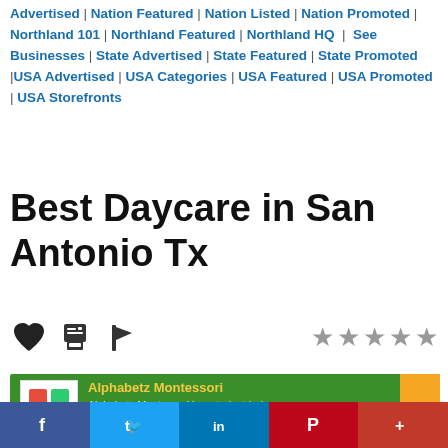Advertised | Nation Featured | Nation Listed | Nation Promoted | Northland 101 | Northland Featured | Northland HQ | See Businesses | State Advertised | State Featured | State Promoted | USA Advertised | USA Categories | USA Featured | USA Promoted | USA Storefronts
Best Daycare in San Antonio Tx
[Figure (infographic): Row of action icons: heart (favorite), printer, flag/bookmark; and 5 grey stars rating]
[Figure (infographic): Alphabetz Montessori listing card on green background with yellow sidebar, logo, name in yellow, and description text]
[Figure (infographic): Social sharing bar with Facebook, Twitter, LinkedIn, Pinterest, and More buttons]